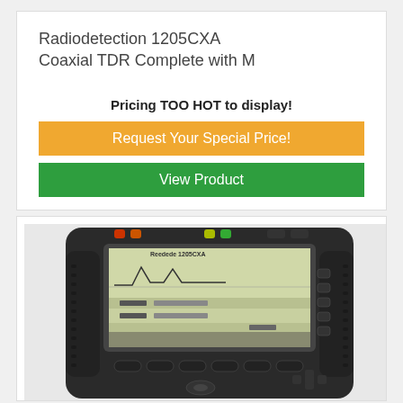Radiodetection 1205CXA Coaxial TDR Complete with M
Pricing TOO HOT to display!
Request Your Special Price!
View Product
[Figure (photo): Radiodetection 1205CXA Coaxial TDR device — a dark grey handheld instrument with a large LCD screen showing waveform/measurement data, multiple function buttons, and connection ports on top.]